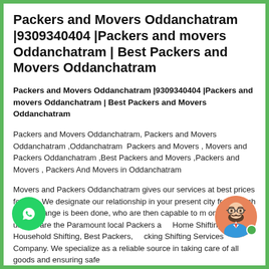Packers and Movers Oddanchatram |9309340404 |Packers and movers Oddanchatram | Best Packers and Movers Oddanchatram
Packers and Movers Oddanchatram |9309340404 |Packers and movers Oddanchatram | Best Packers and Movers Oddanchatram
Packers and Movers Oddanchatram, Packers and Movers Oddanchatram ,Oddanchatram  Packers and Movers , Movers and Packers Oddanchatram ,Best Packers and Movers ,Packers and Movers , Packers And Movers in Oddanchatram
Movers and Packers Oddanchatram gives our services at best prices for you. We designate our relationship in your present city from which the exchange is been done, who are then capable to m on enquire us. We are the Paramount local Packers and Home Shifting, Household Shifting, Best Packers, cking Shifting Services Company. We specialize as a reliable source in taking care of all goods and ensuring safe